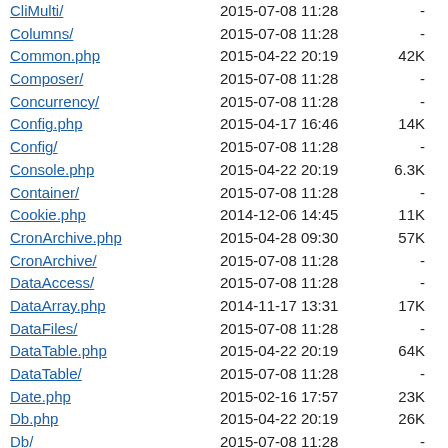CliMulti/ 2015-07-08 11:28 -
Columns/ 2015-07-08 11:28 -
Common.php 2015-04-22 20:19 42K
Composer/ 2015-07-08 11:28 -
Concurrency/ 2015-07-08 11:28 -
Config.php 2015-04-17 16:46 14K
Config/ 2015-07-08 11:28 -
Console.php 2015-04-22 20:19 6.3K
Container/ 2015-07-08 11:28 -
Cookie.php 2014-12-06 14:45 11K
CronArchive.php 2015-04-28 09:30 57K
CronArchive/ 2015-07-08 11:28 -
DataAccess/ 2015-07-08 11:28 -
DataArray.php 2014-11-17 13:31 17K
DataFiles/ 2015-07-08 11:28 -
DataTable.php 2015-04-22 20:19 64K
DataTable/ 2015-07-08 11:28 -
Date.php 2015-02-16 17:57 23K
Db.php 2015-04-22 20:19 26K
Db/ 2015-07-08 11:28 -
DbHelper.php 2015-03-18 16:11 4.5K